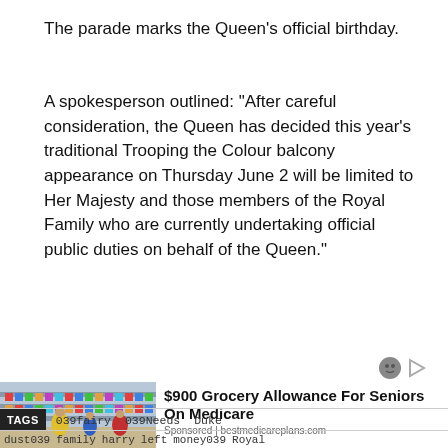The parade marks the Queen’s official birthday.
A spokesperson outlined: “After careful consideration, the Queen has decided this year’s traditional Trooping the Colour balcony appearance on Thursday June 2 will be limited to Her Majesty and those members of the Royal Family who are currently undertaking official public duties on behalf of the Queen.”
[Figure (photo): Advertisement image showing people shopping in a grocery store with colorful product displays]
$900 Grocery Allowance For Seniors On Medicare
Sponsored | bestmedicareplans.com
TAGS  039fairy  039Needs  Duke
dust039  family  harry  left  money039  Royal